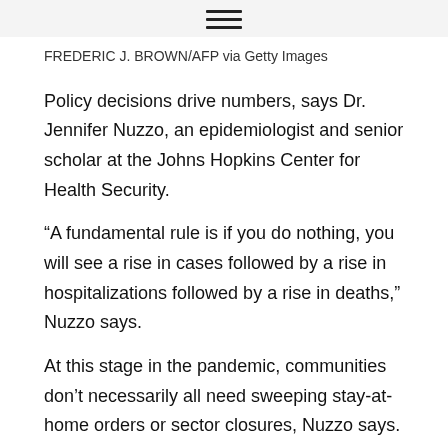≡
FREDERIC J. BROWN/AFP via Getty Images
Policy decisions drive numbers, says Dr. Jennifer Nuzzo, an epidemiologist and senior scholar at the Johns Hopkins Center for Health Security.
“A fundamental rule is if you do nothing, you will see a rise in cases followed by a rise in hospitalizations followed by a rise in deaths,” Nuzzo says.
At this stage in the pandemic, communities don’t necessarily all need sweeping stay-at-home orders or sector closures, Nuzzo says. Contact tracing can shed light on where cases are coming from and that can help states and localities respond with targeted